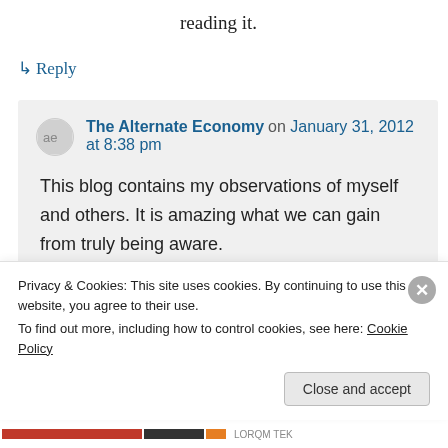reading it.
↳ Reply
The Alternate Economy on January 31, 2012 at 8:38 pm
This blog contains my observations of myself and others. It is amazing what we can gain from truly being aware.
Privacy & Cookies: This site uses cookies. By continuing to use this website, you agree to their use.
To find out more, including how to control cookies, see here: Cookie Policy
Close and accept